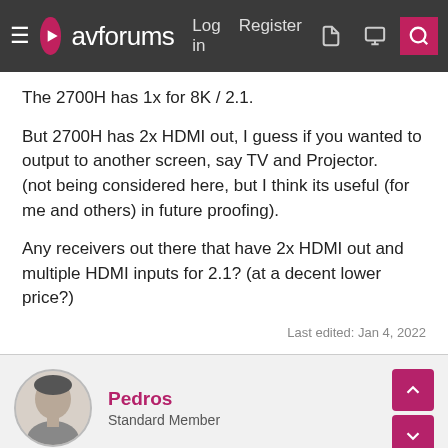avforums — Log in | Register
The 2700H has 1x for 8K / 2.1.
But 2700H has 2x HDMI out, I guess if you wanted to output to another screen, say TV and Projector.
(not being considered here, but I think its useful (for me and others) in future proofing).
Any receivers out there that have 2x HDMI out and multiple HDMI inputs for 2.1? (at a decent lower price?)
Last edited: Jan 4, 2022
Pedros
Standard Member
Jan 4, 2022  #7
First of all, thank you so much for all your feedback!!!